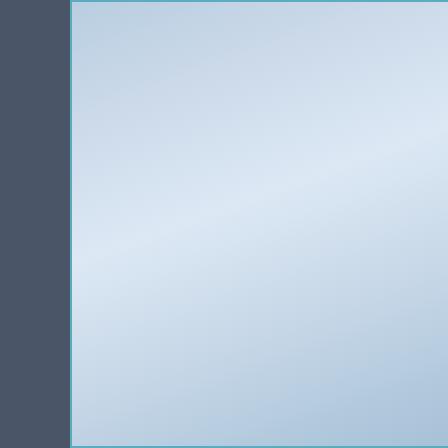[Figure (illustration): Light blue gradient decorative panel on the left side of the page]
Addiction Treatment P
Specialty Progra
Adolescents
Persons With Co-Occurring
Substance Abuse Dis
Gays And Lesbia
Pregnant/Postpartum
Women
Men
Dui/Dwi Offende
Criminal Justice Cl
1512 H
Cars
Additional Services O
Addiction Treatment P
Specialty Progra
Seniors/Older Ad